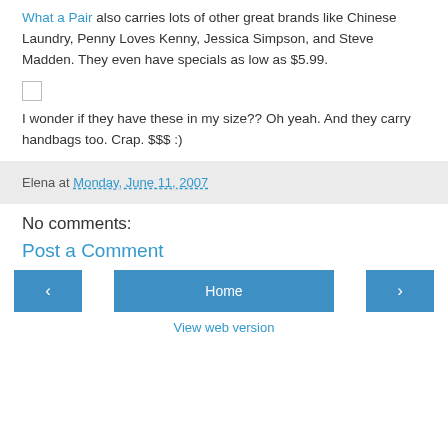What a Pair also carries lots of other great brands like Chinese Laundry, Penny Loves Kenny, Jessica Simpson, and Steve Madden. They even have specials as low as $5.99.
[Figure (other): Small checkbox icon]
I wonder if they have these in my size?? Oh yeah. And they carry handbags too. Crap. $$$ :)
Elena at Monday, June 11, 2007
No comments:
Post a Comment
◂  Home  ▸
View web version